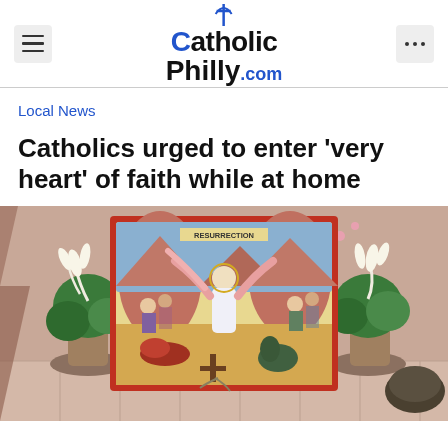CatholicPhilly.com
Local News
Catholics urged to enter ‘very heart’ of faith while at home
[Figure (photo): A religious icon depicting the Resurrection of Jesus, framed in red, placed on a table decorated with white Easter lilies and green plants. The icon shows Jesus in white robes rising, with angels and figures around him, and a label reading RESURRECTION at the top.]